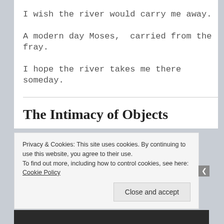I wish the river would carry me away.
A modern day Moses,  carried from the fray.
I hope the river takes me there someday.
The Intimacy of Objects
Privacy & Cookies: This site uses cookies. By continuing to use this website, you agree to their use.
To find out more, including how to control cookies, see here: Cookie Policy
Close and accept